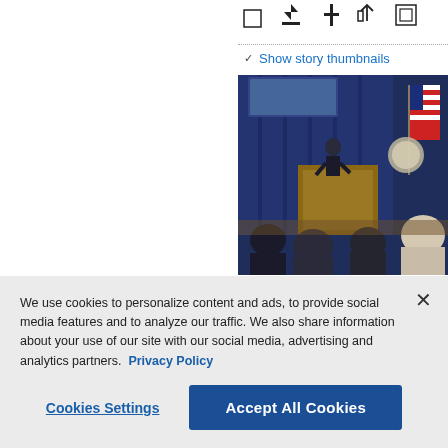[Figure (screenshot): Website UI showing toolbar icons (checkbox, download, add, share, expand) in upper right]
Show story thumbnails
[Figure (photo): Press briefing room photo: a speaker stands at a podium area with blue curtains and American flag, audience seated in foreground]
[Figure (screenshot): Second toolbar row with checkbox, download, add, share, expand icons]
Show story thumbnails
We use cookies to personalize content and ads, to provide social media features and to analyze our traffic. We also share information about your use of our site with our social media, advertising and analytics partners. Privacy Policy
Cookies Settings
Accept All Cookies